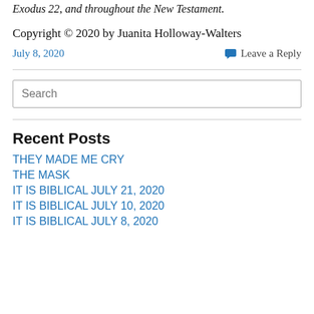Exodus 22, and throughout the New Testament.
Copyright © 2020 by Juanita Holloway-Walters
July 8, 2020
Leave a Reply
Search
Recent Posts
THEY MADE ME CRY
THE MASK
IT IS BIBLICAL JULY 21, 2020
IT IS BIBLICAL JULY 10, 2020
IT IS BIBLICAL JULY 8, 2020